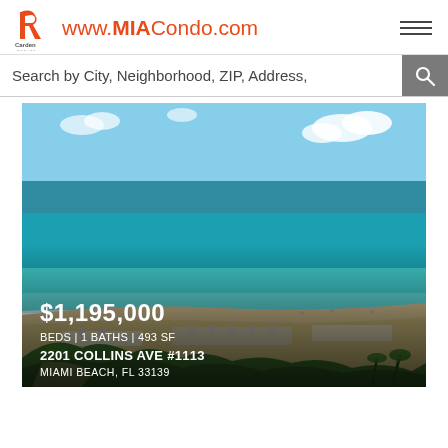www.MIACondo.com — Carden Realty logo
Search by City, Neighborhood, ZIP, Address,
[Figure (photo): Aerial view of Miami Beach coastline with turquoise ocean water, white sand beach with lounge chairs and umbrellas, and green vegetation in the foreground. Property listing overlay shows: $1,195,000 | BEDS | 1 BATHS | 493 SF | 2201 COLLINS AVE #1113 | MIAMI BEACH, FL 33139]